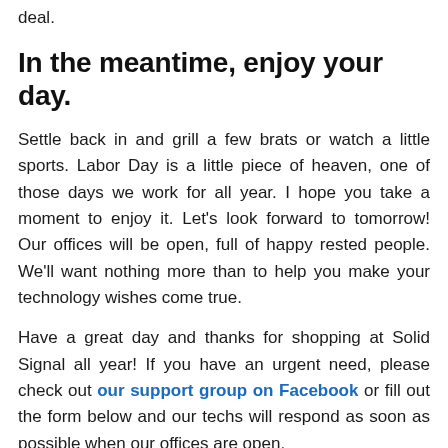deal.
In the meantime, enjoy your day.
Settle back in and grill a few brats or watch a little sports. Labor Day is a little piece of heaven, one of those days we work for all year. I hope you take a moment to enjoy it. Let’s look forward to tomorrow! Our offices will be open, full of happy rested people. We’ll want nothing more than to help you make your technology wishes come true.
Have a great day and thanks for shopping at Solid Signal all year! If you have an urgent need, please check out our support group on Facebook or fill out the form below and our techs will respond as soon as possible when our offices are open.